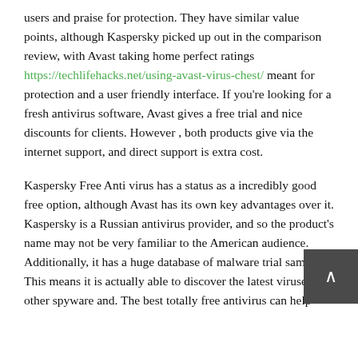users and praise for protection. They have similar value points, although Kaspersky picked up out in the comparison review, with Avast taking home perfect ratings https://techlifehacks.net/using-avast-virus-chest/ meant for protection and a user friendly interface. If you're looking for a fresh antivirus software, Avast gives a free trial and nice discounts for clients. However , both products give via the internet support, and direct support is extra cost.
Kaspersky Free Anti virus has a status as a incredibly good free option, although Avast has its own key advantages over it. Kaspersky is a Russian antivirus provider, and so the product's name may not be very familiar to the American audience. Additionally, it has a huge database of malware trial samples. This means it is actually able to discover the latest viruses and other spyware and. The best totally free antivirus can help